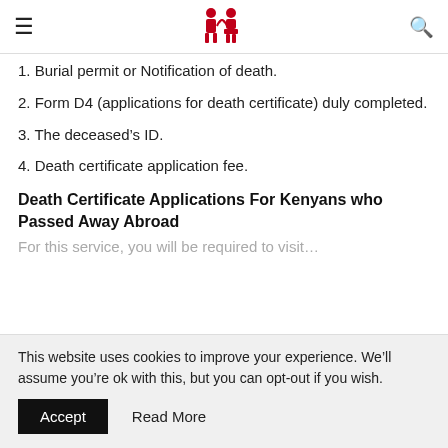Navigation header with hamburger menu, logo, and search icon
1. Burial permit or Notification of death.
2. Form D4 (applications for death certificate) duly completed.
3. The deceased's ID.
4. Death certificate application fee.
Death Certificate Applications For Kenyans who Passed Away Abroad
For this service, you will be required to visit...
This website uses cookies to improve your experience. We'll assume you're ok with this, but you can opt-out if you wish.